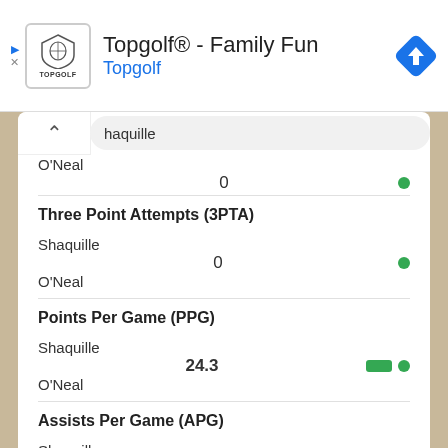[Figure (screenshot): Topgolf advertisement banner with logo, title 'Topgolf® - Family Fun', subtitle 'Topgolf', and a blue navigation/directions icon]
haquille / O'Neal  0  ●
Three Point Attempts (3PTA)
Shaquille / O'Neal  0  ●
Points Per Game (PPG)
Shaquille / O'Neal  24.3  ■●
Assists Per Game (APG)
Shaquille